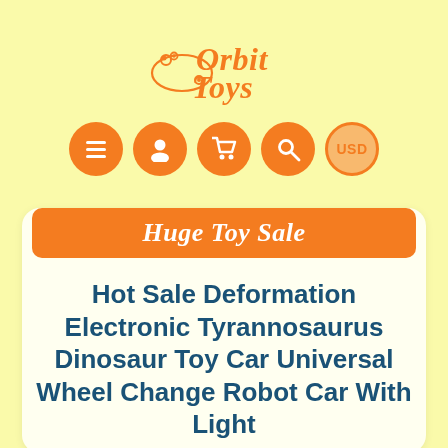[Figure (logo): Orbit Toys logo with orange script text and orbital ring graphic]
[Figure (infographic): Navigation icons: hamburger menu, user profile, shopping cart, search, USD currency — all in orange circles]
Huge Toy Sale
Hot Sale Deformation Electronic Tyrannosaurus Dinosaur Toy Car Universal Wheel Change Robot Car With Light